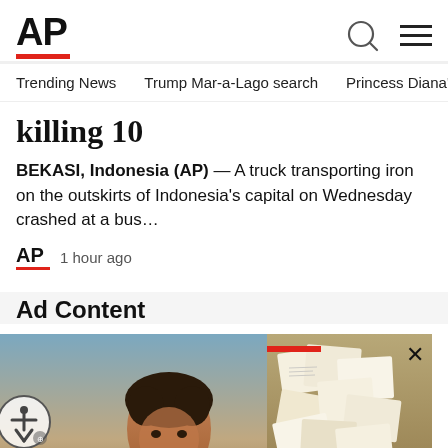[Figure (logo): AP logo with red underbar, search icon, and hamburger menu]
Trending News   Trump Mar-a-Lago search   Princess Diana's dea
killing 10
BEKASI, Indonesia (AP) — A truck transporting iron on the outskirts of Indonesia's capital on Wednesday crashed at a bus…
1 hour ago
Ad Content
[Figure (photo): Ad image: man smiling at phone on left, documents on right with red bar overlay, accessibility icon, close X button, and blurred caption text]